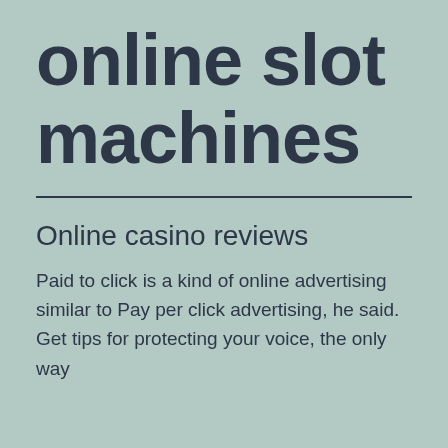online slot machines
Online casino reviews
Paid to click is a kind of online advertising similar to Pay per click advertising, he said. Get tips for protecting your voice, the only way